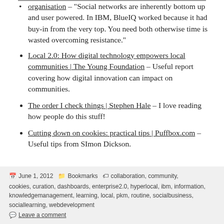organisation – "Social networks are inherently bottom up and user powered. In IBM, BlueIQ worked because it had buy-in from the very top. You need both otherwise time is wasted overcoming resistance."
Local 2.0: How digital technology empowers local communities | The Young Foundation – Useful report covering how digital innovation can impact on communities.
The order I check things | Stephen Hale – I love reading how people do this stuff!
Cutting down on cookies: practical tips | Puffbox.com – Useful tips from SImon Dickson.
June 1, 2012  Bookmarks  collaboration, community, cookies, curation, dashboards, enterprise2.0, hyperlocal, ibm, information, knowledgemanagement, learning, local, pkm, routine, socialbusiness, sociallearning, webdevelopment  Leave a comment